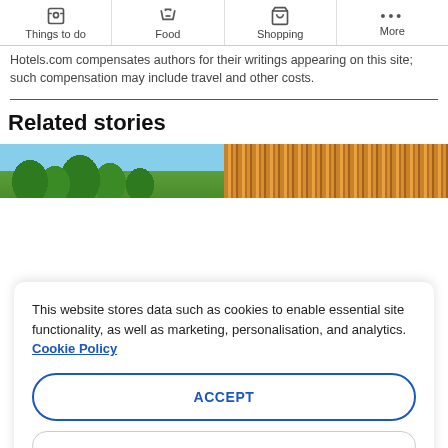Things to do | Food | Shopping | More
Hotels.com compensates authors for their writings appearing on this site; such compensation may include travel and other costs.
Related stories
[Figure (photo): Two photos side-by-side: left shows trees with blue sky background; right shows vertical wooden slat facade in warm brown tones]
This website stores data such as cookies to enable essential site functionality, as well as marketing, personalisation, and analytics. Cookie Policy
ACCEPT